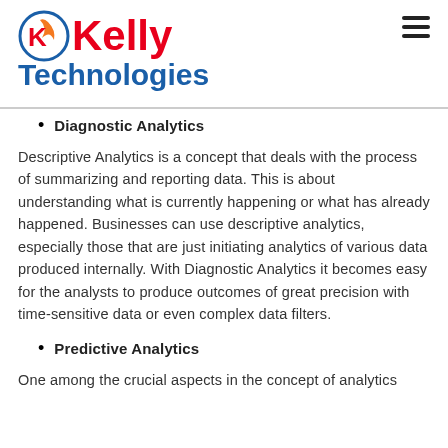Kelly Technologies
Diagnostic Analytics
Descriptive Analytics is a concept that deals with the process of summarizing and reporting data. This is about understanding what is currently happening or what has already happened. Businesses can use descriptive analytics, especially those that are just initiating analytics of various data produced internally. With Diagnostic Analytics it becomes easy for the analysts to produce outcomes of great precision with time-sensitive data or even complex data filters.
Predictive Analytics
One among the crucial aspects in the concept of analytics